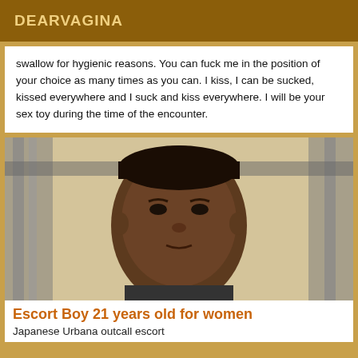DEARVAGINA
swallow for hygienic reasons. You can fuck me in the position of your choice as many times as you can. I kiss, I can be sucked, kissed everywhere and I suck and kiss everywhere. I will be your sex toy during the time of the encounter.
[Figure (photo): Close-up photo of a young man indoors, near what appears to be gym or metal bar equipment, with a neutral background.]
Escort Boy 21 years old for women
Japanese Urbana outcall escort